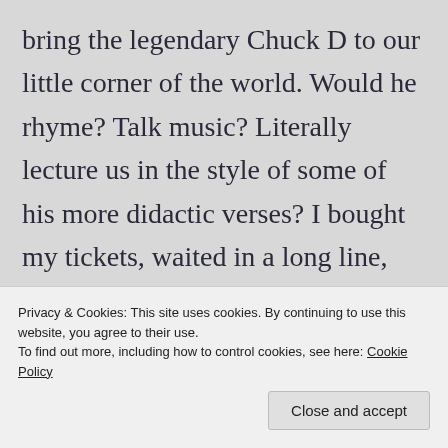bring the legendary Chuck D to our little corner of the world. Would he rhyme? Talk music? Literally lecture us in the style of some of his more didactic verses? I bought my tickets, waited in a long line, and found my answers in a poorly-lit dining hall. He talked to us like the not-quite-adults that we were. He was by far the realest dude in the room. My most vivid memory is of his palpable consternation that college-educated people all over the world were striking thug poses
Privacy & Cookies: This site uses cookies. By continuing to use this website, you agree to their use.
To find out more, including how to control cookies, see here: Cookie Policy
Close and accept